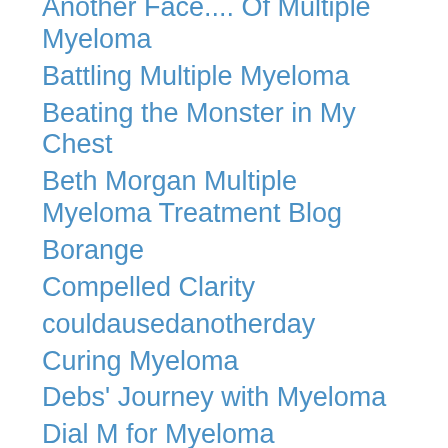Another Face.... Of Multiple Myeloma
Battling Multiple Myeloma
Beating the Monster in My Chest
Beth Morgan Multiple Myeloma Treatment Blog
Borange
Compelled Clarity
couldausedanotherday
Curing Myeloma
Debs' Journey with Myeloma
Dial M for Myeloma
E.J. Bones
Ed's Cancer Blog
Fade to Play
Feresaknit's Blog
Fightingwith's Blog